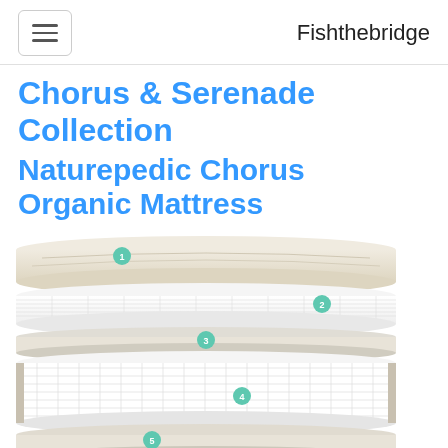Fishthebridge
Chorus & Serenade Collection
Naturepedic Chorus Organic Mattress
[Figure (illustration): Cross-section diagram of the Naturepedic Chorus Organic Mattress showing 6 numbered layers: layer 1 at top (beige quilted top panel), layer 2 (white coil/grid layer), layer 3 (thin middle layer), layer 4 (large white coil/pocket spring layer), layer 5 (beige foam layer), layer 6 at bottom (base layer). Each layer is marked with a teal numbered circle.]